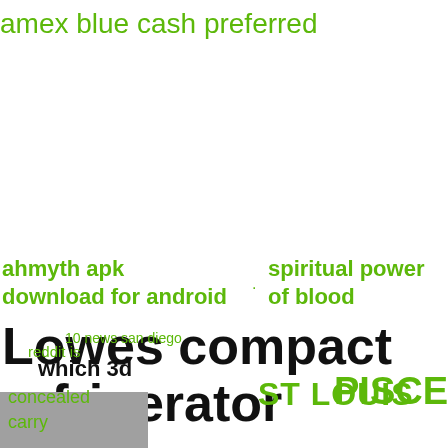amex blue cash preferred
ahmyth apk download for android
spiritual power of blood
Lowes compact refrigerator
.
10 news san diego
reddit is
which 3d
concealed carry
ST LOUIS
PISCES